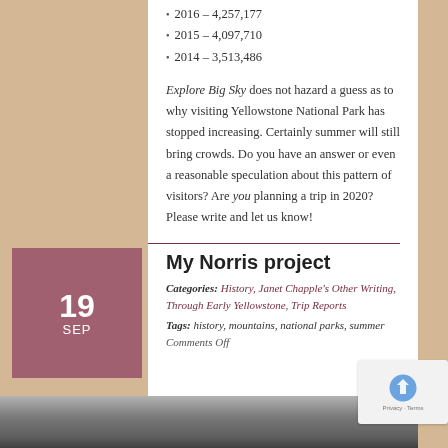2016 – 4,257,177
2015 – 4,097,710
2014 – 3,513,486
Explore Big Sky does not hazard a guess as to why visiting Yellowstone National Park has stopped increasing. Certainly summer will still bring crowds. Do you have an answer or even a reasonable speculation about this pattern of visitors? Are you planning a trip in 2020? Please write and let us know!
My Norris project
Categories: History, Janet Chapple's Other Writing, Through Early Yellowstone, Trip Reports
Tags: history, mountains, national parks, summer
Comments Off
[Figure (photo): Black and white photograph strip at bottom of page]